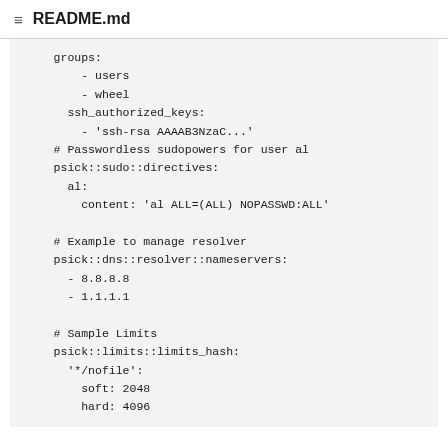README.md
groups:
        - users
        - wheel
      ssh_authorized_keys:
        - 'ssh-rsa AAAAB3NzaC...'
    # Passwordless sudopowers for user al
    psick::sudo::directives:
      al:
        content: 'al ALL=(ALL) NOPASSWD:ALL'

    # Example to manage resolver
    psick::dns::resolver::nameservers:
      - 8.8.8.8
      - 1.1.1.1

    # Sample Limits
    psick::limits::limits_hash:
      '*/nofile':
        soft: 2048
        hard: 4096